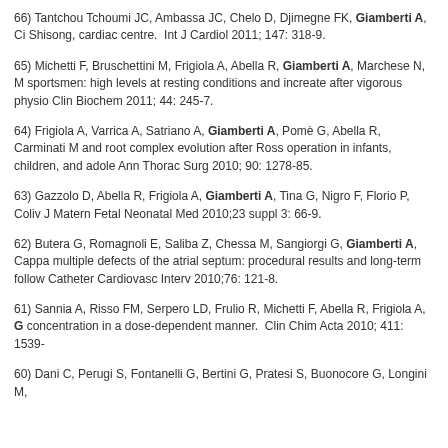66) Tantchou Tchoumi JC, Ambassa JC, Chelo D, Djimegne FK, Giamberti A, Ci... Shisong, cardiac centre. Int J Cardiol 2011; 147: 318-9.
65) Michetti F, Bruschettini M, Frigiola A, Abella R, Giamberti A, Marchese N, M... sportsmen: high levels at resting conditions and increate after vigorous physio... Clin Biochem 2011; 44: 245-7.
64) Frigiola A, Varrica A, Satriano A, Giamberti A, Pomè G, Abella R, Carminati M... and root complex evolution after Ross operation in infants, children, and adole... Ann Thorac Surg 2010; 90: 1278-85.
63) Gazzolo D, Abella R, Frigiola A, Giamberti A, Tina G, Nigro F, Florio P, Coliv... J Matern Fetal Neonatal Med 2010;23 suppl 3: 66-9.
62) Butera G, Romagnoli E, Saliba Z, Chessa M, Sangiorgi G, Giamberti A, Cappa... multiple defects of the atrial septum: procedural results and long-term follow... Catheter Cardiovasc Interv 2010;76: 121-8.
61) Sannia A, Risso FM, Serpero LD, Frulio R, Michetti F, Abella R, Frigiola A, G... concentration in a dose-dependent manner. Clin Chim Acta 2010; 411: 1539-
60) Dani C, Perugi S, Fontanelli G, Bertini G, Pratesi S, Buonocore G, Longini M,